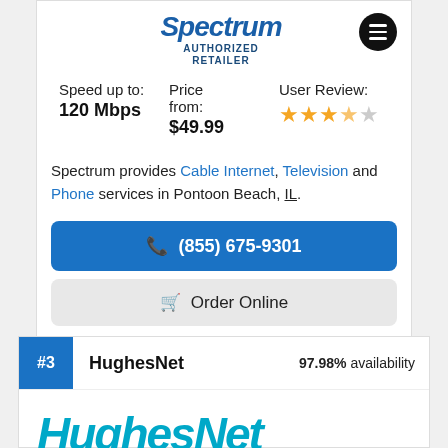[Figure (logo): Spectrum Authorized Retailer logo with menu icon]
Speed up to: 120 Mbps | Price from: $49.99 | User Review: 3.5 stars
Spectrum provides Cable Internet, Television and Phone services in Pontoon Beach, IL.
(855) 675-9301
Order Online
#3 HughesNet 97.98% availability
[Figure (logo): HughesNet logo partial view at bottom]